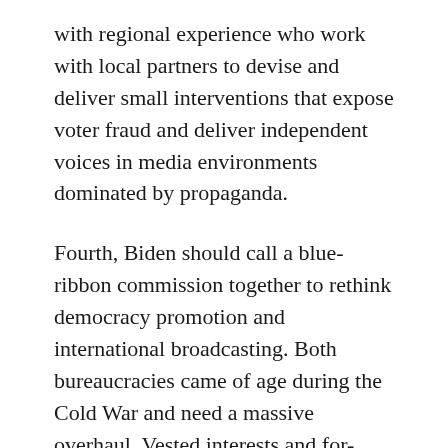with regional experience who work with local partners to devise and deliver small interventions that expose voter fraud and deliver independent voices in media environments dominated by propaganda.
Fourth, Biden should call a blue-ribbon commission together to rethink democracy promotion and international broadcasting. Both bureaucracies came of age during the Cold War and need a massive overhaul. Vested interests and for-profit contractors should be excluded from the commission, which should deliver its findings directly to the president for action.